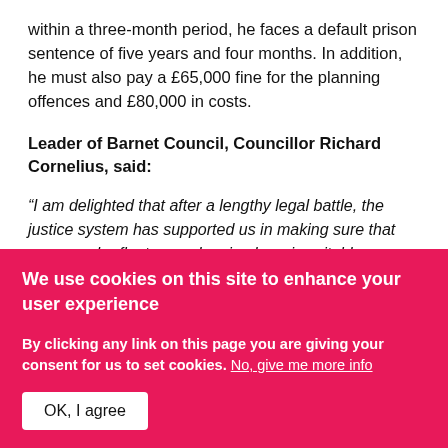within a three-month period, he faces a default prison sentence of five years and four months. In addition, he must also pay a £65,000 fine for the planning offences and £80,000 in costs.
Leader of Barnet Council, Councillor Richard Cornelius, said:
“I am delighted that after a lengthy legal battle, the justice system has supported us in making sure that anyone who flouts our planning laws is suitably punished.
“The Proceeds of Crime Act is there to ensure that
We use cookies on this site to enhance your user experience
By clicking any link on this page you are giving your consent for us to set cookies. No, give me more info
OK, I agree